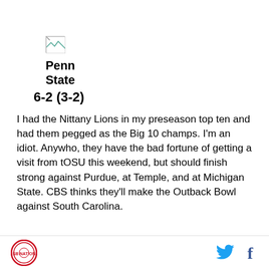[Figure (logo): Small broken image placeholder icon (team logo)]
Penn State
6-2 (3-2)
I had the Nittany Lions in my preseason top ten and had them pegged as the Big 10 champs. I'm an idiot. Anywho, they have the bad fortune of getting a visit from tOSU this weekend, but should finish strong against Purdue, at Temple, and at Michigan State. CBS thinks they'll make the Outback Bowl against South Carolina.
[Figure (logo): SB Nation circular red logo at bottom left]
[Figure (logo): Twitter bird icon and Facebook f icon at bottom right]